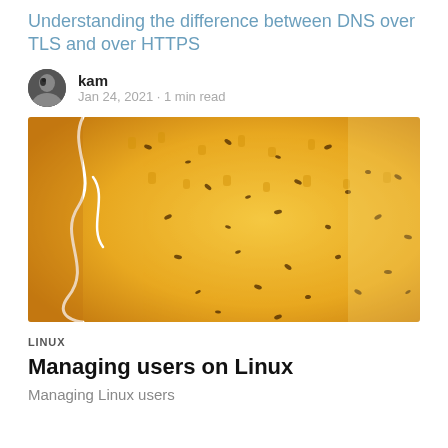Understanding the difference between DNS over TLS and over HTTPS
kam
Jan 24, 2021 · 1 min read
[Figure (photo): Close-up macro photo of a sunflower center showing yellow florets and dark seeds, with a white string or wire looping through the left side.]
LINUX
Managing users on Linux
Managing Linux users